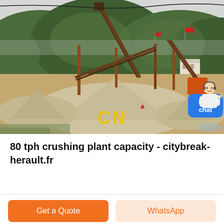[Figure (photo): Outdoor crushing plant facility with conveyor belts, steel structures, piles of crushed stone/gravel, green mountains in background, overcast sky. Yellow 'CN' watermark text visible on gravel pile. Small person visible in mid-ground. Red flags on distant structure. Orange machinery visible.]
80 tph crushing plant capacity - citybreak-herault.fr
Get a Quote
WhatsApp